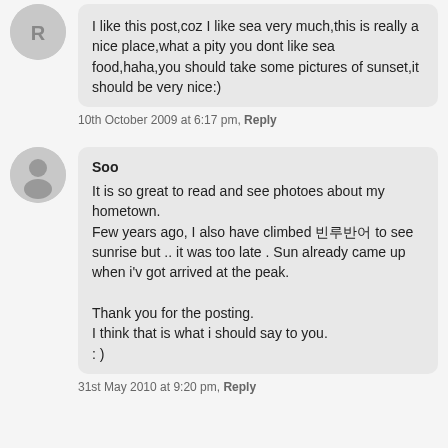R
I like this post,coz I like sea very much,this is really a nice place,what a pity you dont like sea food,haha,you should take some pictures of sunset,it should be very nice:)
10th October 2009 at 6:17 pm, Reply
Soo
It is so great to read and see photoes about my hometown.
Few years ago, I also have climbed 쌍룡굴 to see sunrise but .. it was too late . Sun already came up when i'v got arrived at the peak.

Thank you for the posting.
I think that is what i should say to you.
: )
31st May 2010 at 9:20 pm, Reply